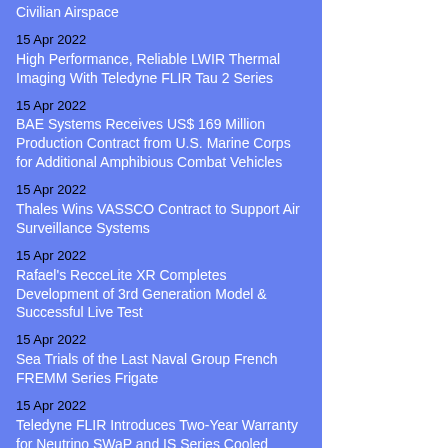Civilian Airspace
15 Apr 2022
High Performance, Reliable LWIR Thermal Imaging With Teledyne FLIR Tau 2 Series
15 Apr 2022
BAE Systems Receives US$ 169 Million Production Contract from U.S. Marine Corps for Additional Amphibious Combat Vehicles
15 Apr 2022
Thales Wins VASSCO Contract to Support Air Surveillance Systems
15 Apr 2022
Rafael's RecceLite XR Completes Development of 3rd Generation Model & Successful Live Test
15 Apr 2022
Sea Trials of the Last Naval Group French FREMM Series Frigate
15 Apr 2022
Teledyne FLIR Introduces Two-Year Warranty for Neutrino SWaP and IS Series Cooled MWIR Camera Modules
15 Apr 2022
Leonardo: The Third and Fourth Eurofighter Typhoons in Kuwait